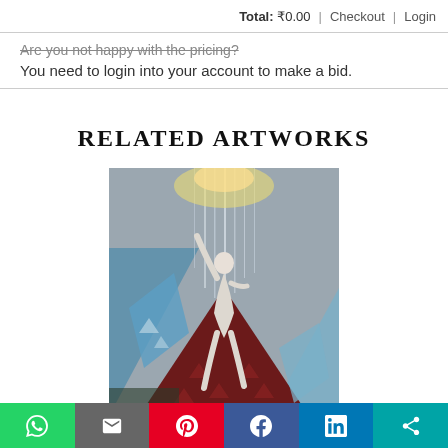Total: ₹0.00 | Checkout | Login
Are you not happy with the pricing?
You need to login into your account to make a bid.
RELATED ARTWORKS
[Figure (photo): Abstract painting showing a white human figure reaching upward against geometric triangular shapes (dark red pyramids and blue diamond/crystal forms) with silver/grey streaking background and glowing light at top.]
Social share bar: WhatsApp, Email, Pinterest, Facebook, LinkedIn, Share